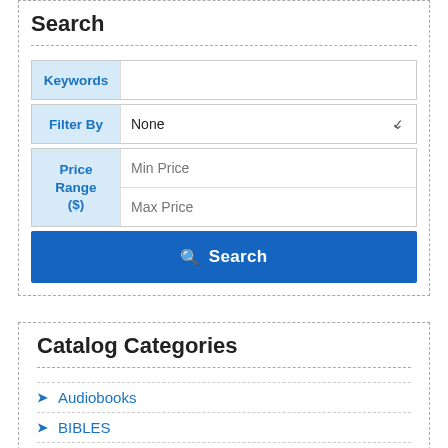Search
[Figure (screenshot): Search form with Keywords input, Filter By dropdown (None), Price Range ($) with Min Price and Max Price fields, and a blue Search button]
Catalog Categories
Audiobooks
BIBLES
E-books